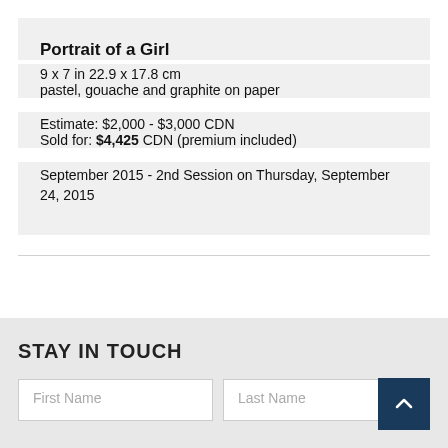Portrait of a Girl
9 x 7 in 22.9 x 17.8 cm
pastel, gouache and graphite on paper
Estimate: $2,000 - $3,000 CDN
Sold for: $4,425 CDN (premium included)
September 2015 - 2nd Session on Thursday, September 24, 2015
STAY IN TOUCH